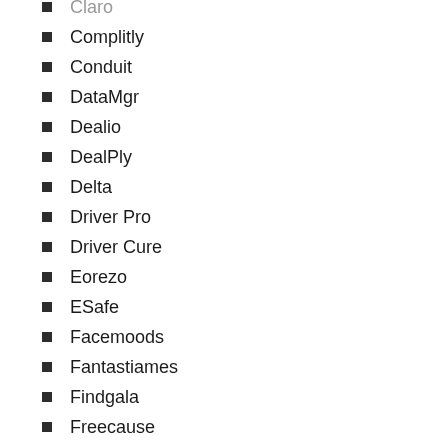Claro
Complitly
Conduit
DataMgr
Dealio
DealPly
Delta
Driver Pro
Driver Cure
Eorezo
ESafe
Facemoods
Fantastiames
Findgala
Freecause
Getsavin